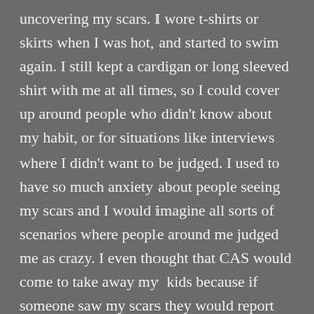uncovering my scars.  I wore t-shirts or skirts when I was hot, and started to swim again.  I still kept a cardigan or long sleeved shirt with me at all times, so I could cover up around people who didn't know about my habit, or for situations like interviews where I didn't want to be judged.  I used to have so much anxiety about people seeing my scars and I would imagine all sorts of scenarios where people around me judged me as crazy.  I even thought that CAS would come to take away my  kids because if someone saw my scars they would report me as an unfit mother. Over time, I  became accustomed to uncovering my scars.  I came to a place of a bit more acceptance (plus I got tired of being hot all summer!).  This was a process and today, the only time I purposefully cover my scars is when I'm helping other women at work.  I'm afraid that my scars might trigger others, especially those who are working